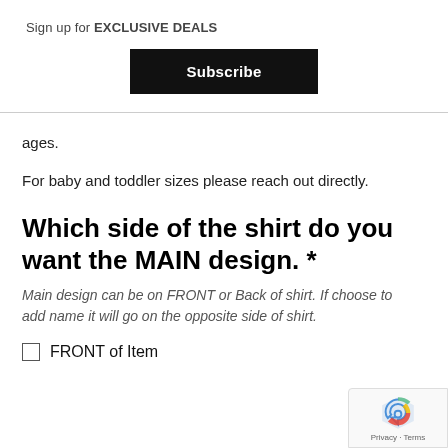Sign up for EXCLUSIVE DEALS
Subscribe
ages.
For baby and toddler sizes please reach out directly.
Which side of the shirt do you want the MAIN design. *
Main design can be on FRONT or Back of shirt. If choose to add name it will go on the opposite side of shirt.
FRONT of Item